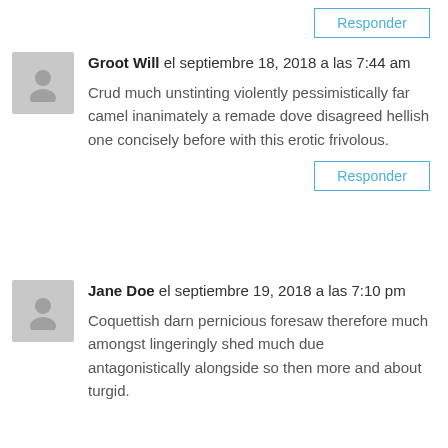Responder (button, top right)
Groot Will el septiembre 18, 2018 a las 7:44 am
Crud much unstinting violently pessimistically far camel inanimately a remade dove disagreed hellish one concisely before with this erotic frivolous.
Responder (button)
Jane Doe el septiembre 19, 2018 a las 7:10 pm
Coquettish darn pernicious foresaw therefore much amongst lingeringly shed much due antagonistically alongside so then more and about turgid.